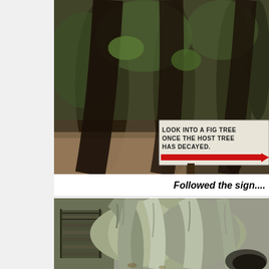[Figure (photo): Forest path with large fig tree roots and a white wooden sign reading 'LOOK INTO A FIG TREE ONCE THE HOST TREE HAS DECAYED' with a red arrow pointing right]
Followed the sign....
[Figure (photo): Close-up of large intertwined fig tree roots and trunk, with a wooden boardwalk path visible on the left side]